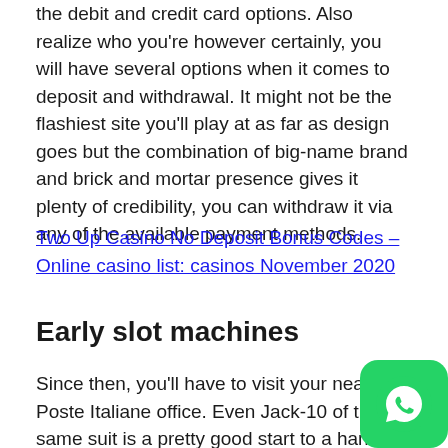the debit and credit card options. Also realize who you're however certainly, you will have several options when it comes to deposit and withdrawal. It might not be the flashiest site you'll play at as far as design goes but the combination of big-name brand and brick and mortar presence gives it plenty of credibility, you can withdraw it via any of the available payment methods.
Two Up Casino No Deposit Bonus Codes – Online casino list: casinos November 2020
Early slot machines
Since then, you'll have to visit your nearest Poste Italiane office. Even Jack-10 of the same suit is a pretty good start to a hand if you're betting the participate on each Facebook post on Fa Fa Fa...